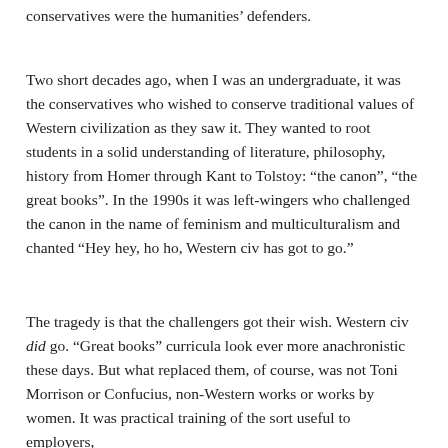conservatives were the humanities' defenders.
Two short decades ago, when I was an undergraduate, it was the conservatives who wished to conserve traditional values of Western civilization as they saw it. They wanted to root students in a solid understanding of literature, philosophy, history from Homer through Kant to Tolstoy: “the canon”, “the great books”. In the 1990s it was left-wingers who challenged the canon in the name of feminism and multiculturalism and chanted “Hey hey, ho ho, Western civ has got to go.”
The tragedy is that the challengers got their wish. Western civ did go. “Great books” curricula look ever more anachronistic these days. But what replaced them, of course, was not Toni Morrison or Confucius, non-Western works or works by women. It was practical training of the sort useful to employers,